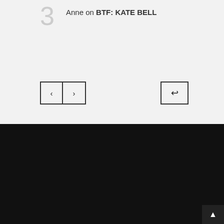3   Anne on BTF: KATE BELL
[Figure (other): Navigation buttons: left arrow, right arrow, and reply/return arrow button]
ABOUT THE SITE
[Figure (logo): Ellements Magazine logo: red circle with white stylized letter E on black background]
Elléments Magazine is the fastest growing editorial publication which focuses